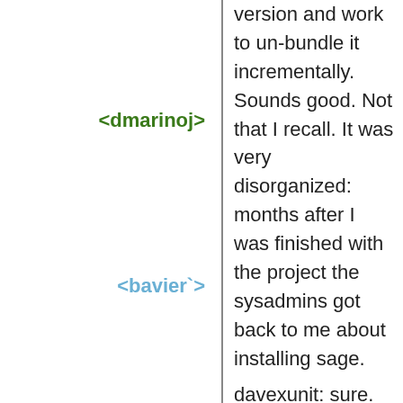<dmarinoj>
version and work to un-bundle it incrementally. Sounds good. Not that I recall. It was very disorganized: months after I was finished with the project the sysadmins got back to me about installing sage.
<bavier`>
davexunit: sure. The last time I looked at sage though, it looked like it wanted to build things like gfortran and gmp and such without